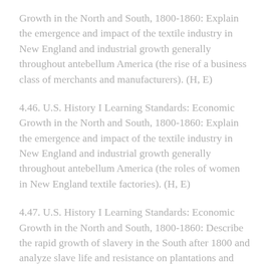Growth in the North and South, 1800-1860: Explain the emergence and impact of the textile industry in New England and industrial growth generally throughout antebellum America (the rise of a business class of merchants and manufacturers). (H, E)
4.46. U.S. History I Learning Standards: Economic Growth in the North and South, 1800-1860: Explain the emergence and impact of the textile industry in New England and industrial growth generally throughout antebellum America (the roles of women in New England textile factories). (H, E)
4.47. U.S. History I Learning Standards: Economic Growth in the North and South, 1800-1860: Describe the rapid growth of slavery in the South after 1800 and analyze slave life and resistance on plantations and farms across the South, as well as the impact of the cotton gin on the economics of slavery and Southern